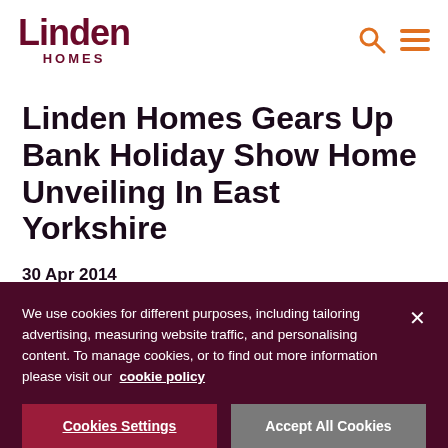[Figure (logo): Linden Homes logo — 'Linden' in large dark red serif-style bold text, 'HOMES' in small caps below, centered]
Linden Homes Gears Up Bank Holiday Show Home Unveiling In East Yorkshire
30 Apr 2014
We use cookies for different purposes, including tailoring advertising, measuring website traffic, and personalising content. To manage cookies, or to find out more information please visit our cookie policy
Cookies Settings
Accept All Cookies